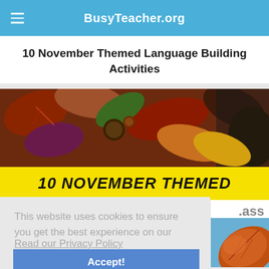BusyTeacher.org
10 November Themed Language Building Activities
[Figure (photo): Autumn leaves and chestnuts arranged on a surface, with a yellow banner below showing bold text '10 NOVEMBER THEMED']
.ass
[Figure (photo): Close-up of an autumn orange/red leaf against a blue sky background]
This website uses cookies to ensure you get the best experience on our website.
Read our Privacy Policy
Accept!